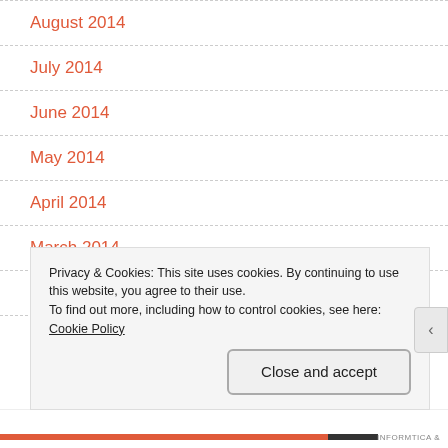August 2014
July 2014
June 2014
May 2014
April 2014
March 2014
February 2014
January 2014
Privacy & Cookies: This site uses cookies. By continuing to use this website, you agree to their use.
To find out more, including how to control cookies, see here: Cookie Policy
Close and accept